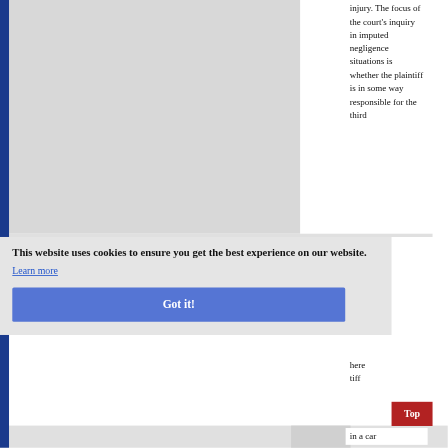injury. The focus of the court's inquiry in imputed negligence situations is whether the plaintiff is in some way responsible for the third
[Figure (other): Grey rectangular image placeholder area on left side of page]
or ce. ne y
This website uses cookies to ensure you get the best experience on our website.
Learn more
Got it!
here tiff
Top
in a car